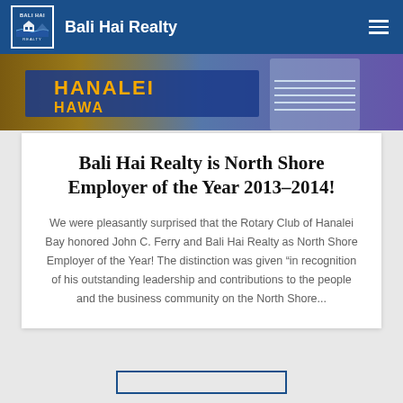Bali Hai Realty
[Figure (photo): Partial photo showing a banner with text 'HANALEI' and 'HAWA', with a person wearing a striped shirt visible]
Bali Hai Realty is North Shore Employer of the Year 2013-2014!
We were pleasantly surprised that the Rotary Club of Hanalei Bay honored John C. Ferry and Bali Hai Realty as North Shore Employer of the Year! The distinction was given “in recognition of his outstanding leadership and contributions to the people and the business community on the North Shore...